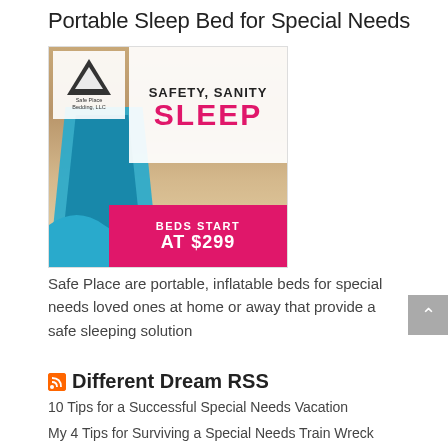Portable Sleep Bed for Special Needs
[Figure (illustration): Advertisement image for Safe Place Bedding, LLC showing a blue inflatable bed frame on a bedroom bed. White banner with text 'SAFETY, SANITY SLEEP' in bold and pink. Logo with triangle and 'Safe Place Bedding, LLC' text top left. Pink banner at bottom: 'BEDS START AT $299'. Blue wave element at bottom left.]
Safe Place are portable, inflatable beds for special needs loved ones at home or away that provide a safe sleeping solution
Different Dream RSS
10 Tips for a Successful Special Needs Vacation
My 4 Tips for Surviving a Special Needs Train Wreck